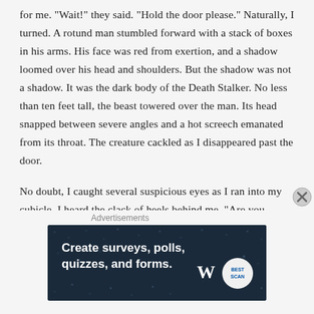for me. "Wait!" they said. "Hold the door please." Naturally, I turned. A rotund man stumbled forward with a stack of boxes in his arms. His face was red from exertion, and a shadow loomed over his head and shoulders. But the shadow was not a shadow. It was the dark body of the Death Stalker. No less than ten feet tall, the beast towered over the man. Its head snapped between severe angles and a hot screech emanated from its throat. The creature cackled as I disappeared past the door.
No doubt, I caught several suspicious eyes as I ran into my cubicle. I heard the clack of heels behind me. "Are you alright?" someone asked. I did not turn to look, but I recognized her voice. It was Julie.
Advertisements
[Figure (other): Advertisement banner: dark navy background with dot pattern. Bold white text reads 'Create surveys, polls, quizzes, and forms.' WordPress logo and a circular badge logo on the right.]